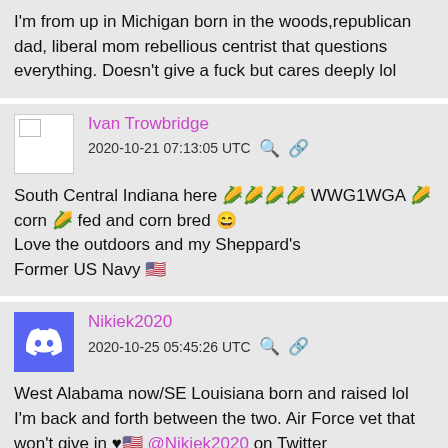I'm from up in Michigan born in the woods,republican dad, liberal mom rebellious centrist that questions everything. Doesn't give a fuck but cares deeply lol
Ivan Trowbridge
2020-10-21 07:13:05 UTC
South Central Indiana here 🌽🌽🌽🌽 WWG1WGA 🌽 corn 🌽 fed and corn bred 😄
Love the outdoors and my Sheppard's
Former US Navy 🇺🇸
Nikiek2020
2020-10-25 05:45:26 UTC
West Alabama now/SE Louisiana born and raised lol I'm back and forth between the two. Air Force vet that won't give in ♥🇺🇸 @Nikiek2020 on Twitter